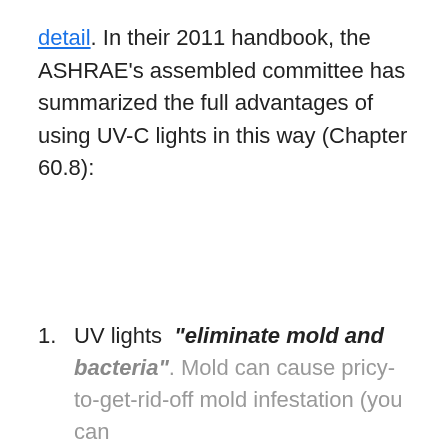detail. In their 2011 handbook, the ASHRAE's assembled committee has summarized the full advantages of using UV-C lights in this way (Chapter 60.8):
UV lights "eliminate mold and bacteria". Mold can cause pricy-to-get-rid-off mold infestation (you can